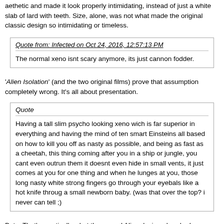aethetic and made it look properly intimidating, instead of just a white slab of lard with teeth. Size, alone, was not what made the original classic design so intimidating or timeless.
Quote from: Infected on Oct 24, 2016, 12:57:13 PM
The normal xeno isnt scary anymore, its just cannon fodder.
'Alien Isolation' (and the two original films) prove that assumption completely wrong. It's all about presentation.
Quote
Having a tall slim psycho looking xeno wich is far superior in everything and having the mind of ten smart Einsteins all based on how to kill you off as nasty as possible, and being as fast as a cheetah, this thing coming after you in a ship or jungle, you cant even outrun them it doesnt even hide in small vents, it just comes at you for one thing and when he lunges at you, those long nasty white strong fingers go through your eyebals like a hot knife throug a small newborn baby. (was that over the top? i never can tell ;)
But... That's practically what the normal Alien design already does.
I think you are absolutely right here. The 'Firewalker' reference seems to be spot-on and it could fit with what has already been established